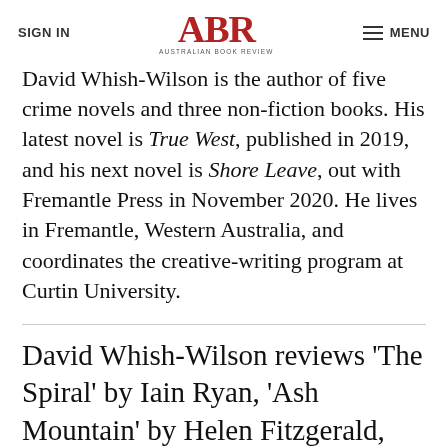SIGN IN | ABR Australian Book Review | MENU
David Whish-Wilson is the author of five crime novels and three non-fiction books. His latest novel is True West, published in 2019, and his next novel is Shore Leave, out with Fremantle Press in November 2020. He lives in Fremantle, Western Australia, and coordinates the creative-writing program at Curtin University.
David Whish-Wilson reviews 'The Spiral' by Iain Ryan, 'Ash Mountain' by Helen Fitzgerald, and 'Shelter' by